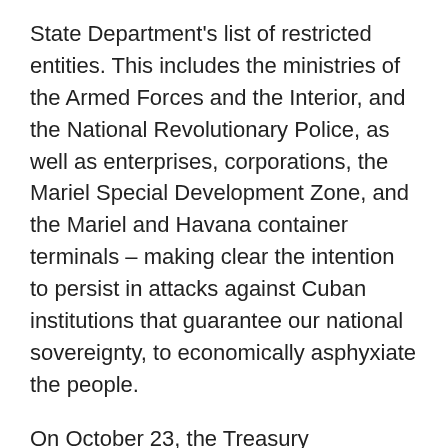State Department's list of restricted entities. This includes the ministries of the Armed Forces and the Interior, and the National Revolutionary Police, as well as enterprises, corporations, the Mariel Special Development Zone, and the Mariel and Havana container terminals – making clear the intention to persist in attacks against Cuban institutions that guarantee our national sovereignty, to economically asphyxiate the people.
On October 23, the Treasury Department announced modifications to regulations for the control of Cuban assets, which would prevent remittances to Cuba through U.S. companies with general licenses.
To avoid responsibility for this low blow, the U.S. administration argued that remittances would not be